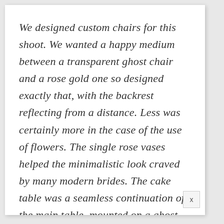We designed custom chairs for this shoot. We wanted a happy medium between a transparent ghost chair and a rose gold one so designed exactly that, with the backrest reflecting from a distance. Less was certainly more in the case of the use of flowers. The single rose vases helped the minimalistic look craved by many modern brides. The cake table was a seamless continuation of the main table, mounted on a ghost table, its tiers with rose gold paint and delicate sugar flowers was the icing on the cake! There are...